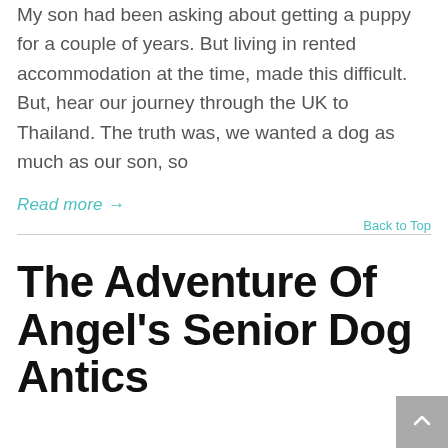My son had been asking about getting a puppy for a couple of years. But living in rented accommodation at the time, made this difficult. But, hear our journey through the UK to Thailand. The truth was, we wanted a dog as much as our son, so
Read more →
Back to Top
The Adventure Of Angel's Senior Dog Antics